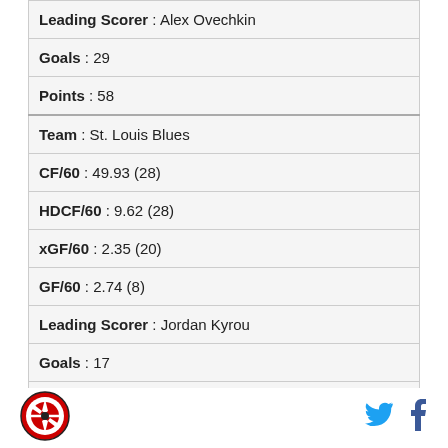| Leading Scorer : Alex Ovechkin |
| Goals : 29 |
| Points : 58 |
| Team : St. Louis Blues |
| CF/60 : 49.93 (28) |
| HDCF/60 : 9.62 (28) |
| xGF/60 : 2.35 (20) |
| GF/60 : 2.74 (8) |
| Leading Scorer : Jordan Kyrou |
| Goals : 17 |
| Points : 42 |
[Figure (logo): Hockey stats site circular logo, red and black design]